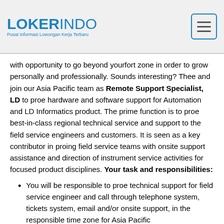LOKERINDO - Pusat Informasi Lowongan Kerja Terbaru
with opportunity to go beyond yourfort zone in order to grow personally and professionally. Sounds interesting? Thee and join our Asia Pacific team as Remote Support Specialist, LD to proe hardware and software support for Automation and LD Informatics product. The prime function is to proe best-in-class regional technical service and support to the field service engineers and customers. It is seen as a key contributor in proing field service teams with onsite support assistance and direction of instrument service activities for focused product disciplines. Your task and responsibilities:
You will be responsible to proe technical support for field service engineer and call through telephone system, tickets system, email and/or onsite support, in the responsible time zone for Asia Pacific
You will support customer call through pre-clarification through hotline/ email/ ticketing system